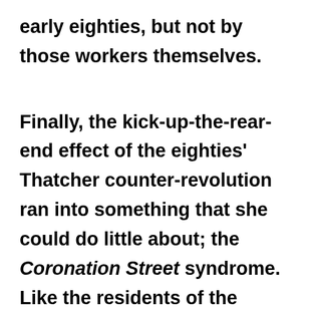early eighties, but not by those workers themselves.

Finally, the kick-up-the-rear-end effect of the eighties' Thatcher counter-revolution ran into something that she could do little about; the Coronation Street syndrome. Like the residents of the mythical TV soap opera, millions in the old British industrial economy had a deeply